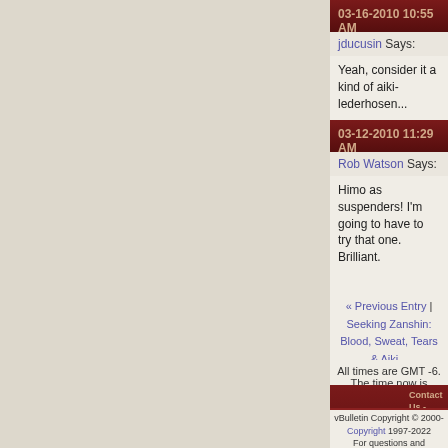03-16-2010 10:55 AM
jducusin Says:
Yeah, consider it a kind of aiki-lederhosen...
03-12-2010 11:29 AM
Rob Watson Says:
Himo as suspenders! I'm going to have to try that one. Brilliant.
« Previous Entry | Seeking Zanshin: Blood, Sweat, Tears & Aiki... Next Entry »
All times are GMT -6. The time now is 07:57 PM.
Contact Us - AikiWeb Aikido Information - Archive - Privacy Statement -
vBulletin Copyright © 2000-2022 Jelsoft Enterprises Limited
Copyright 1997-2022 AikiWeb and its Authors, All Rights Reserved
For questions and comments about this website: Send E-mail